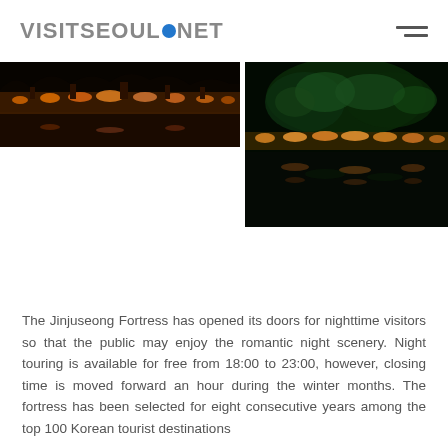VISITSEOUL.NET
[Figure (photo): Two nighttime photos of Jinjuseong Fortress with illuminated lights reflected on water. Left photo shows a panoramic view of the fortress lit in orange and yellow lights. Right photo shows green-lit trees and golden light reflections on the river.]
The Jinjuseong Fortress has opened its doors for nighttime visitors so that the public may enjoy the romantic night scenery. Night touring is available for free from 18:00 to 23:00, however, closing time is moved forward an hour during the winter months. The fortress has been selected for eight consecutive years among the top 100 Korean tourist destinations